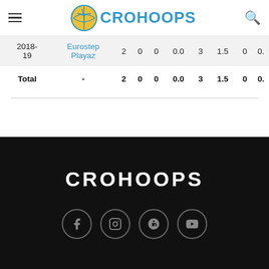CROHOOPS
| Season | Team | G | GS | MIN | AVG | PTS | AVG | AST | ... |
| --- | --- | --- | --- | --- | --- | --- | --- | --- | --- |
| 2018-19 | Eurostep Playaz | 2 | 0 | 0 | 0.0 | 3 | 1.5 | 0 | 0. |
| Total | - | 2 | 0 | 0 | 0.0 | 3 | 1.5 | 0 | 0. |
CROHOOPS